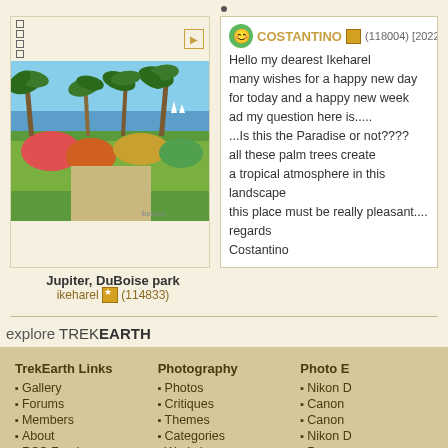[Figure (photo): Tropical park scene with palm trees, colorful flowers/vegetation, beach and water in the background, blue sky. Jupiter, DuBoise park photo.]
Jupiter, DuBoise park
ikeharel (114833)
COSTANTINO (118004) [2022-08-20 2...]
Hello my dearest Ikeharel
many wishes for a happy new day
for today and a happy new week
ad my question here is.....
...Is this the Paradise or not????
all these palm trees create
a tropical atmosphere in this landscape
this place must be really pleasant....
regards
Costantino
explore TREKEARTH
TrekEarth Links
Gallery
Forums
Members
About
RSS Feeds
Photography
Photos
Critiques
Themes
Categories
Workshops
Photo E
Nikon D
Canon
Canon
Nikon D
Panaso
TREKLENS  TREKEARTH  TR